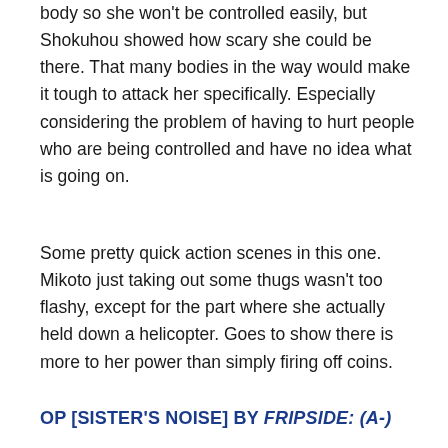body so she won't be controlled easily, but Shokuhou showed how scary she could be there. That many bodies in the way would make it tough to attack her specifically. Especially considering the problem of having to hurt people who are being controlled and have no idea what is going on.
Some pretty quick action scenes in this one. Mikoto just taking out some thugs wasn't too flashy, except for the part where she actually held down a helicopter. Goes to show there is more to her power than simply firing off coins.
OP [SISTER'S NOISE] BY FRIPSIDE: (A-)